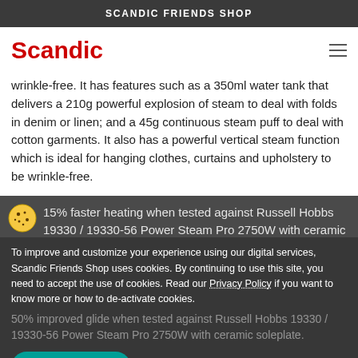SCANDIC FRIENDS SHOP
[Figure (logo): Scandic red logo text on white background with hamburger menu icon]
wrinkle-free. It has features such as a 350ml water tank that delivers a 210g powerful explosion of steam to deal with folds in denim or linen; and a 45g continuous steam puff to deal with cotton garments. It also has a powerful vertical steam function which is ideal for hanging clothes, curtains and upholstery to be wrinkle-free.
15% faster heating when tested against Russell Hobbs 19330 / 19330-56 Power Steam Pro 2750W with ceramic
50% improved glide when tested against Russell Hobbs 19330 / 19330-56 Power Steam Pro 2750W with ceramic soleplate.
To improve and customize your experience using our digital services, Scandic Friends Shop uses cookies. By continuing to use this site, you need to accept the use of cookies. Read our Privacy Policy if you want to know more or how to de-activate cookies.
I understand